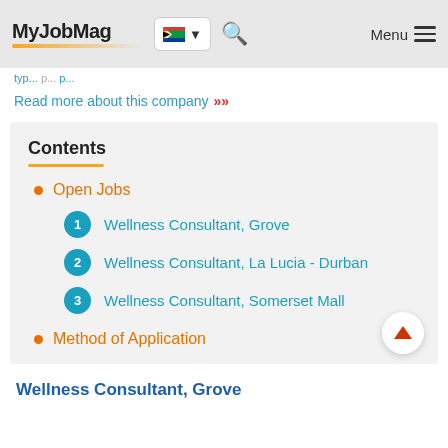MyJobMag
Read more about this company
Contents
Open Jobs
1 Wellness Consultant, Grove
2 Wellness Consultant, La Lucia - Durban
3 Wellness Consultant, Somerset Mall
Method of Application
Wellness Consultant, Grove